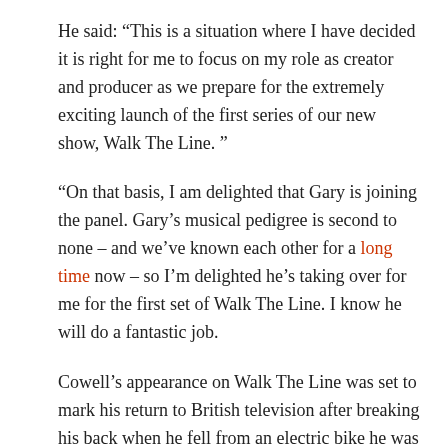He said: “This is a situation where I have decided it is right for me to focus on my role as creator and producer as we prepare for the extremely exciting launch of the first series of our new show, Walk The Line. ”
“On that basis, I am delighted that Gary is joining the panel. Gary’s musical pedigree is second to none – and we’ve known each other for a long time now – so I’m delighted he’s taking over for me for the first set of Walk The Line. I know he will do a fantastic job.
Cowell’s appearance on Walk The Line was set to mark his return to British television after breaking his back when he fell from an electric bike he was testing at his home in Malibu in August last year.
The show will offer variety musical performers a chance to win a prize, but to win the money they have to decide whether they